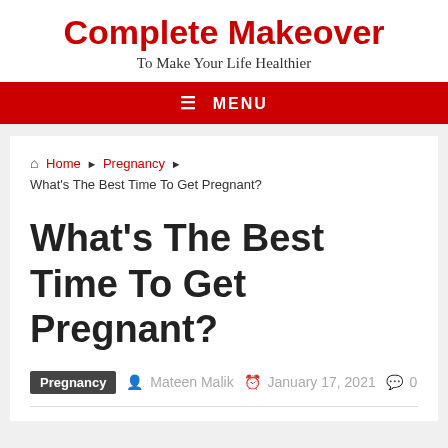Complete Makeover
To Make Your Life Healthier
≡ MENU
🏠 Home ▶ Pregnancy ▶ What's The Best Time To Get Pregnant?
What's The Best Time To Get Pregnant?
Pregnancy   Mateen Malik   January 17, 2021   0